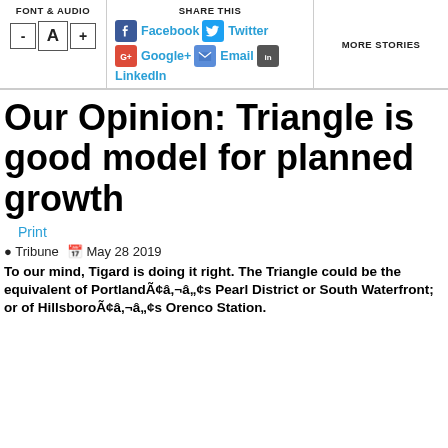FONT & AUDIO | SHARE THIS | MORE STORIES
Our Opinion: Triangle is good model for planned growth
Print
Tribune  May 28 2019
To our mind, Tigard is doing it right. The Triangle could be the equivalent of PortlandÃ¢â‚¬â„¢s Pearl District or South Waterfront; or of HillsboroÃ¢â‚¬â„¢s Orenco Station.